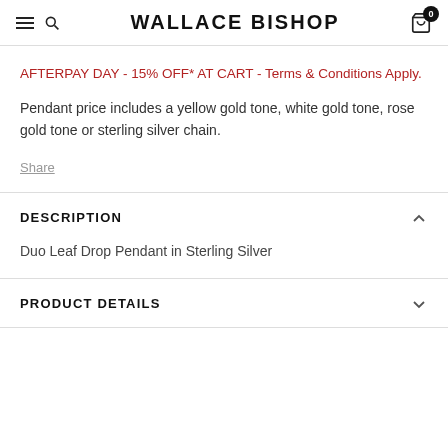WALLACE BISHOP
AFTERPAY DAY - 15% OFF* AT CART - Terms & Conditions Apply.
Pendant price includes a yellow gold tone, white gold tone, rose gold tone or sterling silver chain.
Share
DESCRIPTION
Duo Leaf Drop Pendant in Sterling Silver
PRODUCT DETAILS